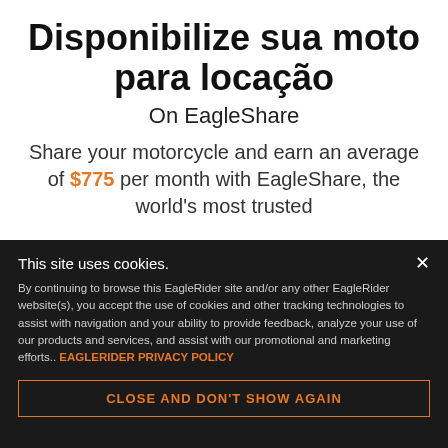Disponibilize sua moto para locação
On EagleShare
Share your motorcycle and earn an average of $775 per month with EagleShare, the world's most trusted
This site uses cookies.
By continuing to browse this EagleRider site and/or any other EagleRider website(s), you accept the use of cookies and other tracking technologies to assist with navigation and your ability to provide feedback, analyze your use of our products and services, and assist with our promotional and marketing efforts.. EAGLERIDER PRIVACY POLICY
CLOSE AND DON'T SHOW AGAIN